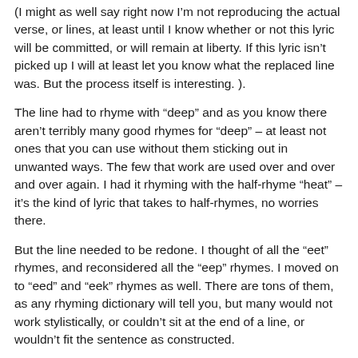(I might as well say right now I'm not reproducing the actual verse, or lines, at least until I know whether or not this lyric will be committed, or will remain at liberty. If this lyric isn't picked up I will at least let you know what the replaced line was. But the process itself is interesting. ).
The line had to rhyme with “deep” and as you know there aren’t terribly many good rhymes for “deep” – at least not ones that you can use without them sticking out in unwanted ways. The few that work are used over and over and over again. I had it rhyming with the half-rhyme “heat” – it’s the kind of lyric that takes to half-rhymes, no worries there.
But the line needed to be redone. I thought of all the “eet” rhymes, and reconsidered all the “eep” rhymes. I moved on to “eed” and “eek” rhymes as well. There are tons of them, as any rhyming dictionary will tell you, but many would not work stylistically, or couldn’t sit at the end of a line, or wouldn’t fit the sentence as constructed.
I noodled around in the early evening, in the mid-evening, and the late evening. I didn’t want to let go of this problem and move on to fixing the other things. I needed to break the